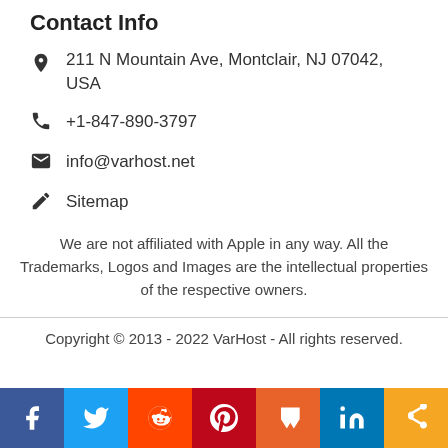Contact Info
211 N Mountain Ave, Montclair, NJ 07042, USA
+1-847-890-3797
info@varhost.net
Sitemap
We are not affiliated with Apple in any way. All the Trademarks, Logos and Images are the intellectual properties of the respective owners.
Copyright © 2013 - 2022 VarHost - All rights reserved.